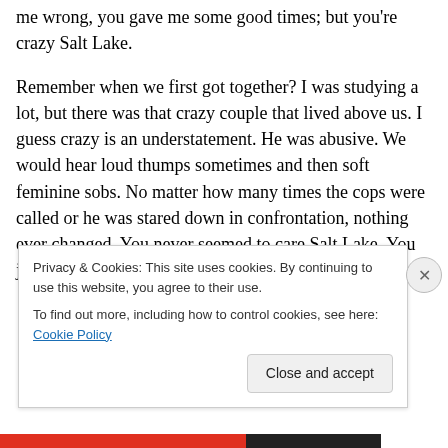It's not you, it's me. It really is. But you are crazy. Don't get me wrong, you gave me some good times; but you're crazy Salt Lake.

Remember when we first got together? I was studying a lot, but there was that crazy couple that lived above us. I guess crazy is an understatement. He was abusive. We would hear loud thumps sometimes and then soft feminine sobs. No matter how many times the cops were called or he was stared down in confrontation, nothing ever changed. You never seemed to care Salt Lake. You just looked the other way. The cops always left without
Privacy & Cookies: This site uses cookies. By continuing to use this website, you agree to their use.
To find out more, including how to control cookies, see here: Cookie Policy
Close and accept